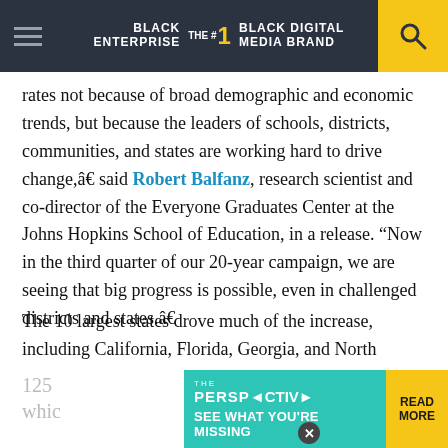BLACK ENTERPRISE THE #1 BLACK DIGITAL MEDIA BRAND
rates not because of broad demographic and economic trends, but because the leaders of schools, districts, communities, and states are working hard to drive change,â€ said Robert Balfanz, research scientist and co-director of the Everyone Graduates Center at the Johns Hopkins School of Education, in a release. “Now in the third quarter of our 20-year campaign, we are seeing that big progress is possible, even in challenged districts and states.â€
The 10 largest states drove much of the increase, including California, Florida, Georgia, and North Carolina. The recent gains have been driven by
[Figure (screenshot): Advertisement banner: THE PERSPECTIVE - SEE WHAT YOU'RE MISSING - READ MORE, with teal/cyan background and yellow READ MORE button]